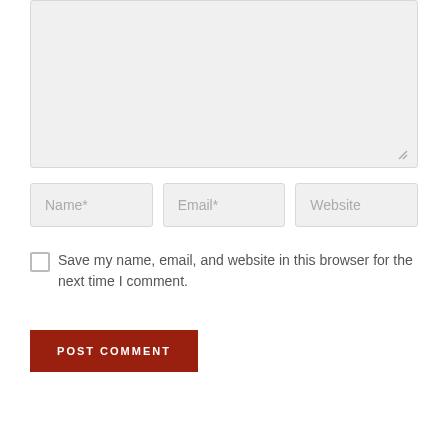[Figure (screenshot): A comment form with a large textarea at the top, three input fields for Name*, Email*, and Website, a checkbox for saving browser info, and a red POST COMMENT button.]
Name*
Email*
Website
Save my name, email, and website in this browser for the next time I comment.
POST COMMENT